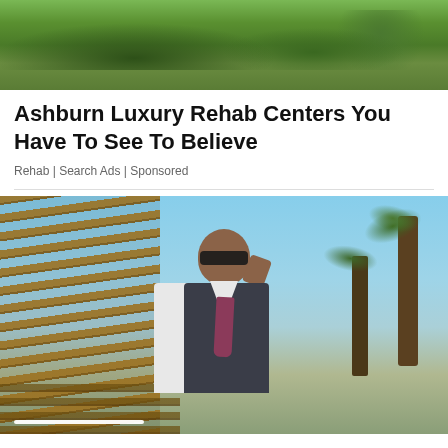[Figure (photo): Aerial or landscape photo showing green trees, hills and vegetation]
Ashburn Luxury Rehab Centers You Have To See To Believe
Rehab | Search Ads | Sponsored
[Figure (photo): Man in vest and tie wearing sunglasses, adjusting glasses, standing outdoors with wooden slat structure and palm trees in background]
Don't Ignore Warning Signs of Atrial Fib...